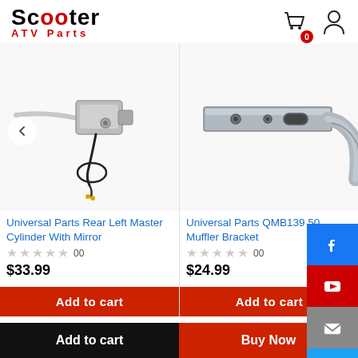Scooter ATV Parts
[Figure (photo): Photo of Universal Parts Rear Left Master Cylinder With Mirror - silver brake lever assembly with wiring]
Universal Parts Rear Left Master Cylinder With Mirror
☆☆☆☆☆ 00
$33.99
Add to cart
[Figure (photo): Photo of Universal Parts QMB139 50 Muffler Bracket - chrome metal bracket piece]
Universal Parts QMB139 50 Muffler Bracket
☆☆☆☆☆ 00
$24.99
Add to cart
Add to cart | Buy Now